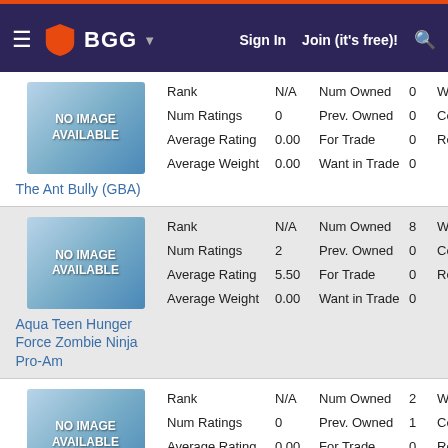BGG — Sign In  Join (it's free)!
[Figure (screenshot): No image available placeholder for The Ant Bully (GBA)]
The Ant Bully (GBA)
| Stat | Value | Stat | Value | Extra |
| --- | --- | --- | --- | --- |
| Rank | N/A | Num Owned | 0 | Wishlist |
| Num Ratings | 0 | Prev. Owned | 0 | Comme… |
| Average Rating | 0.00 | For Trade | 0 | Release… |
| Average Weight | 0.00 | Want in Trade | 0 |  |
[Figure (screenshot): No image available placeholder for Aqua Teen Hunger Force Zombie Ninja Pro-Am]
Aqua Teen Hunger Force Zombie Ninja Pro-Am
| Stat | Value | Stat | Value | Extra |
| --- | --- | --- | --- | --- |
| Rank | N/A | Num Owned | 8 | Wishlist |
| Num Ratings | 2 | Prev. Owned | 0 | Comme… |
| Average Rating | 5.50 | For Trade | 0 | Release… |
| Average Weight | 0.00 | Want in Trade | 0 |  |
[Figure (screenshot): No image available placeholder for Arcade Classic No. 4]
Arcade Classic No. 4
| Stat | Value | Stat | Value | Extra |
| --- | --- | --- | --- | --- |
| Rank | N/A | Num Owned | 2 | Wishlist |
| Num Ratings | 0 | Prev. Owned | 1 | Comme… |
| Average Rating | 0.00 | For Trade | 0 | Release… |
| Average Weight | 0.00 | Want in Trade | 0 |  |
[Figure (photo): Midway Arcade Classics game cover image]
| Stat | Value | Stat | Value | Extra |
| --- | --- | --- | --- | --- |
| Rank | N/A | Num Owned | 0 | Wishlist |